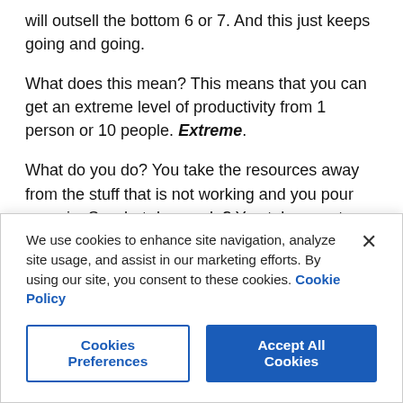will outsell the bottom 6 or 7. And this just keeps going and going.

What does this mean? This means that you can get an extreme level of productivity from 1 person or 10 people. Extreme.

What do you do? You take the resources away from the stuff that is not working and you pour more in. So what do you do? You take your top 5, if you got a 1000 sales people or you got 200 sales people, you take your top 5, they all get a personal assistant, they all get a masseuse, they all get somebody to do their travel schedule. Give them a chauffeur if you have to, I don't really care. Just get them to the appointment.

Well, this repeating 80/20 inside, every 80/20, there's another one
We use cookies to enhance site navigation, analyze site usage, and assist in our marketing efforts. By using our site, you consent to these cookies. Cookie Policy
Cookies Preferences
Accept All Cookies